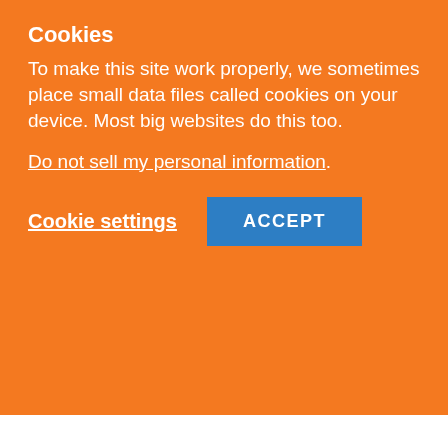Cookies
To make this site work properly, we sometimes place small data files called cookies on your device. Most big websites do this too.
Do not sell my personal information.
Cookie settings  ACCEPT
[Figure (photo): A dark-themed movie/show image showing a figure with long hair, possibly a monster or character from a horror or fantasy production]
Author
WHAT'S NEXT → Adventure Time...
JOIN US ON
Ashburn  OPEN  8AM–10PM  20321 Susan Leslie Dr, Ashburn